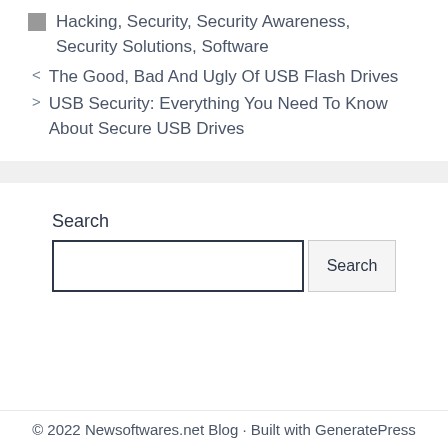Hacking, Security, Security Awareness, Security Solutions, Software
< The Good, Bad And Ugly Of USB Flash Drives
> USB Security: Everything You Need To Know About Secure USB Drives
Search
[Search input field] [Search button]
© 2022 Newsoftwares.net Blog · Built with GeneratePress